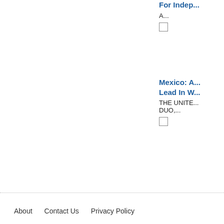For Indep...
A...
Mexico: A... Lead In W...
THE UNITE... DUO,...
Add
About   Contact Us   Privacy Policy